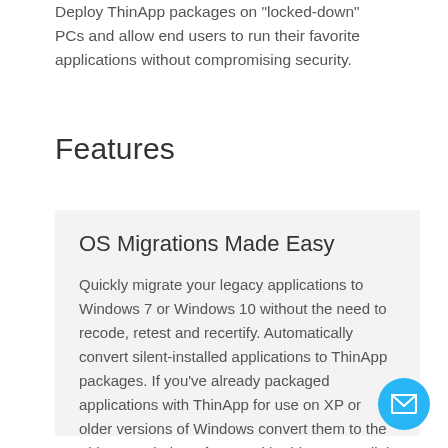Deploy ThinApp packages on "locked-down" PCs and allow end users to run their favorite applications without compromising security.
Features
OS Migrations Made Easy
Quickly migrate your legacy applications to Windows 7 or Windows 10 without the need to recode, retest and recertify. Automatically convert silent-installed applications to ThinApp packages. If you've already packaged applications with ThinApp for use on XP or older versions of Windows convert them to the ThinApp Windows format with ThinApp's Relink feature.